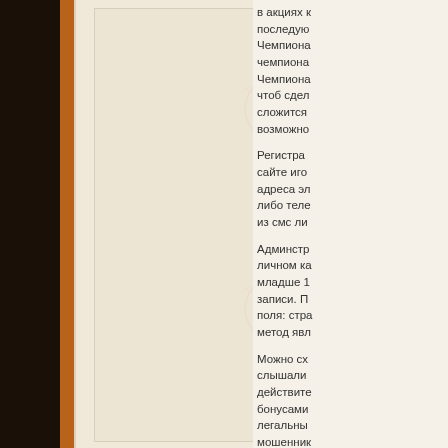[Figure (photo): Left portion of a scanned book page spread. The left side shows a dark brown/black background (book binding), an orange-brown spine, and the right portion of the page shows a cream/beige textured book page with faint watermark pattern. The right edge of the image shows partial Russian text from the adjacent page.]
в акциях и последую Чемпиона чемпиона Чемпиона чтоб сдел сложится возможно
Регистра сайте иго адреса эл либо теле из смс ли
Адмистр личном ка младше 1 записи. П поля: стра метод явл
Можно сх слышали действите бонусами легальны мошенник